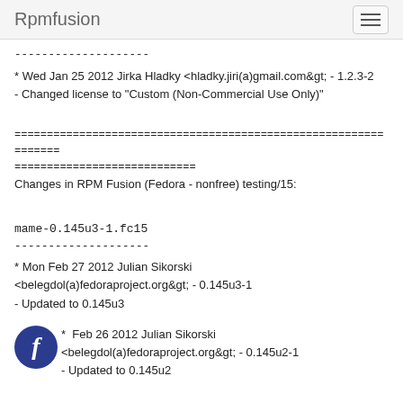Rpmfusion
--------------------
* Wed Jan 25 2012 Jirka Hladky <hladky.jiri(a)gmail.com&gt; - 1.2.3-2
- Changed license to "Custom (Non-Commercial Use Only)"
=================================================================
============================
Changes in RPM Fusion (Fedora - nonfree) testing/15:
mame-0.145u3-1.fc15
--------------------
* Mon Feb 27 2012 Julian Sikorski <belegdol(a)fedoraproject.org&gt; - 0.145u3-1
- Updated to 0.145u3
* Feb 26 2012 Julian Sikorski <belegdol(a)fedoraproject.org&gt; - 0.145u2-1
- Updated to 0.145u2